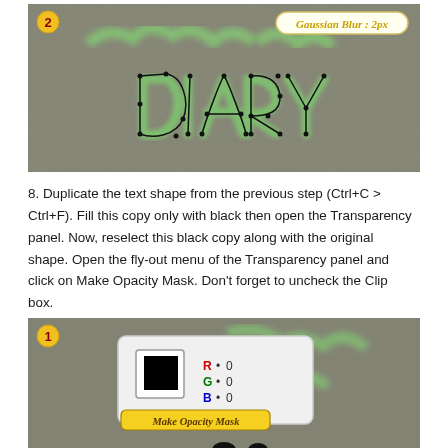[Figure (screenshot): Tutorial screenshot showing graffiti-style text 'DIARY' outlined with bezier path nodes on a grey textured background, with green chalk-like shadow text behind. A label reads 'Gaussian Blur : 2px' with a yellow step number badge '2'.]
8. Duplicate the text shape from the previous step (Ctrl+C > Ctrl+F). Fill this copy only with black then open the Transparency panel. Now, reselect this black copy along with the original shape. Open the fly-out menu of the Transparency panel and click on Make Opacity Mask. Don't forget to uncheck the Clip box.
[Figure (screenshot): Tutorial screenshot showing a panel with a black square swatch and RGB values all set to 0 (R:0, G:0, B:0), with a label 'Make Opacity Mask' in yellow/black style at the bottom. Background shows the same grey texture with green chalky shapes. A yellow step number badge '1' is visible.]